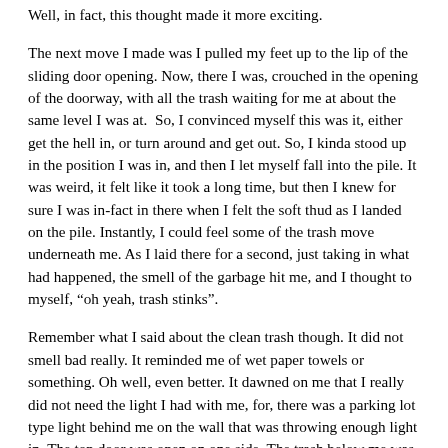Well, in fact, this thought made it more exciting.
The next move I made was I pulled my feet up to the lip of the sliding door opening. Now, there I was, crouched in the opening of the doorway, with all the trash waiting for me at about the same level I was at.  So, I convinced myself this was it, either get the hell in, or turn around and get out. So, I kinda stood up in the position I was in, and then I let myself fall into the pile. It was weird, it felt like it took a long time, but then I knew for sure I was in-fact in there when I felt the soft thud as I landed on the pile. Instantly, I could feel some of the trash move underneath me. As I laid there for a second, just taking in what had happened, the smell of the garbage hit me, and I thought to myself, “oh yeah, trash stinks”.
Remember what I said about the clean trash though. It did not smell bad really. It reminded me of wet paper towels or something. Oh well, even better. It dawned on me that I really did not need the light I had with me, for, there was a parking lot type light behind me on the wall that was throwing enough light in. The top door was open on one side. The trash below me was still warm from the heat of most of that day. That made it kind of nice because it was a fairly cool night. Mostly after that, I just laid there and looked out the top at the stars. It was quite an interesting view, seeing as how there were four walls and a partial roof that made a dumpster what it was! For a few minutes, I just laid still